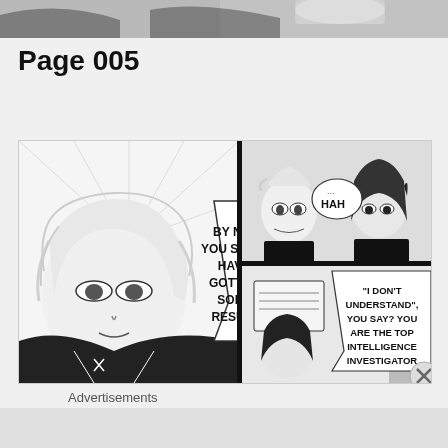[Figure (illustration): Top portion of manga page — cropped panel showing a character's hand holding something, partial view of a figure in dark clothing]
Page 005
[Figure (illustration): Manga comic page 005 with multiple panels. Left large panel: close-up of a character with white/silver hair, speech bubble reads 'BY NOW, YOU SHOULD HAVE GOTTEN SOME RESULTS!'. Upper right panel: two characters facing each other, one with light hair, one with dark hair, speech bubble reads '...HAH'. Lower right panel: character reading a document, speech bubble reads '"I DON'T UNDERSTAND", YOU SAY? YOU ARE THE TOP INTELLIGENCE INVESTIGATOR']
Advertisements